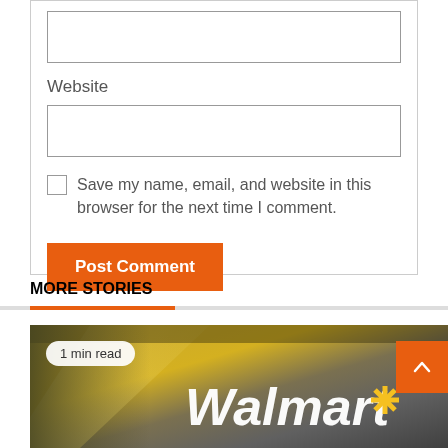Website
Save my name, email, and website in this browser for the next time I comment.
Post Comment
MORE STORIES
[Figure (photo): Walmart store sign photo with '1 min read' badge overlay]